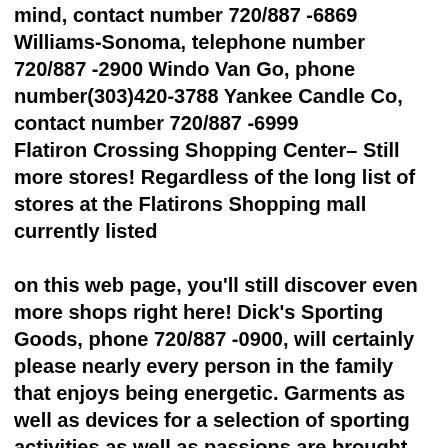mind, contact number 720/887 -6869 Williams-Sonoma, telephone number 720/887 -2900 Windo Van Go, phone number(303)420-3788 Yankee Candle Co, contact number 720/887 -6999 Flatiron Crossing Shopping Center– Still more stores! Regardless of the long list of stores at the Flatirons Shopping mall currently listed

on this web page, you'll still discover even more shops right here! Dick's Sporting Goods, phone 720/887 -0900, will certainly please nearly every person in the family that enjoys being energetic. Garments as well as devices for a selection of sporting activities as well as passions are brought … as well as this huge store will certainly keep sports-lovers occupied for hrs poring over the large selection. For the complete listing of shops in the"various"group, please refer to the shopping mall's official site( link at the end of this web page.) Flatiron Crossing's Movies